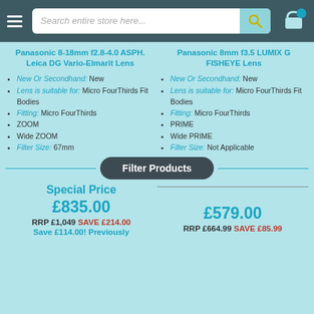Search entire store here...
Panasonic 8-18mm f2.8-4.0 ASPH. Leica DG Vario-Elmarit Lens
Panasonic 8mm f3.5 LUMIX G FISHEYE Lens
New Or Secondhand: New
Lens is suitable for: Micro FourThirds Fit Bodies
Fitting: Micro FourThirds
ZOOM
Wide ZOOM
Filter Size: 67mm
New Or Secondhand: New
Lens is suitable for: Micro FourThirds Fit Bodies
Fitting: Micro FourThirds
PRIME
Wide PRIME
Filter Size: Not Applicable
Filter Products
Special Price
£835.00
RRP £1,049 SAVE £214.00
Save £114.00! Previously
£579.00
RRP £664.99 SAVE £85.99